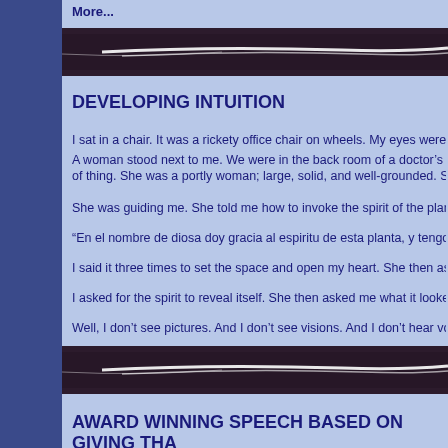More...
[Figure (photo): Dark horizontal divider bar with white streaks/reflections]
DEVELOPING INTUITION
I sat in a chair. It was a rickety office chair on wheels. My eyes were close... A woman stood next to me. We were in the back room of a doctor's office... of thing. She was a portly woman; large, solid, and well-grounded. She ha...
She was guiding me. She told me how to invoke the spirit of the plant. I sa...
“En el nombre de diosa doy gracia al espiritu de esta planta, y tengo la fe...
I said it three times to set the space and open my heart. She then asked m...
I asked for the spirit to reveal itself. She then asked me what it looked like...
Well, I don’t see pictures. And I don’t see visions. And I don’t hear voices.
[Figure (photo): Dark horizontal divider bar with white streaks/reflections]
AWARD WINNING SPEECH BASED ON GIVING THA...